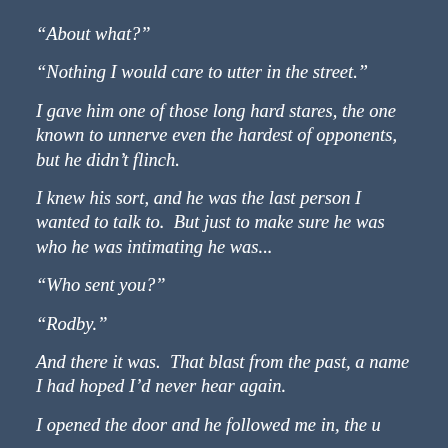“About what?”
“Nothing I would care to utter in the street.”
I gave him one of those long hard stares, the one known to unnerve even the hardest of opponents, but he didn’t flinch.
I knew his sort, and he was the last person I wanted to talk to.  But just to make sure he was who he was intimating he was...
“Who sent you?”
“Rodby.”
And there it was.  That blast from the past, a name I had hoped I’d never hear again.
I opened the door and he followed me in, the u...